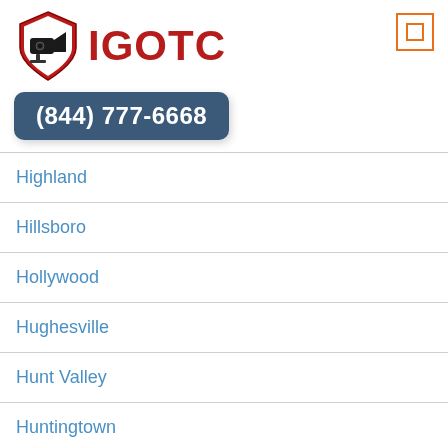[Figure (logo): IGOTC logo with security camera icon inside a red shield, followed by bold red text IGOTC, and an orange-bordered menu icon button in the top right]
(844) 777-6668
Highland
Hillsboro
Hollywood
Hughesville
Hunt Valley
Huntingtown